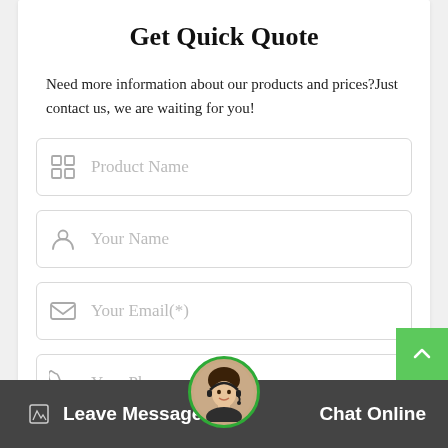Get Quick Quote
Need more information about our products and prices?Just contact us, we are waiting for you!
[Figure (screenshot): Form field: Product Name with grid/product icon]
[Figure (screenshot): Form field: Your Name with person icon]
[Figure (screenshot): Form field: Your Email(*) with envelope icon]
[Figure (screenshot): Form field: Your Phone or Whatsapp with phone icon]
[Figure (screenshot): Form field: Equipment name, related issues (partially visible)]
Leave Message   Chat Online